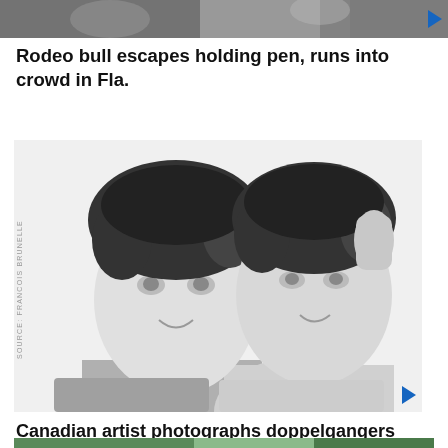[Figure (photo): Partial photo visible at top of page, appears to show people (cropped)]
Rodeo bull escapes holding pen, runs into crowd in Fla.
[Figure (photo): Black and white photograph of two young men with curly dark hair who look nearly identical (doppelgangers), posed together looking at camera. Source: FRANCOIS BRUNELLE]
Canadian artist photographs doppelgangers around the world
[Figure (photo): Partial photo at bottom of page showing outdoor scene with green trees/foliage and a person (cropped)]